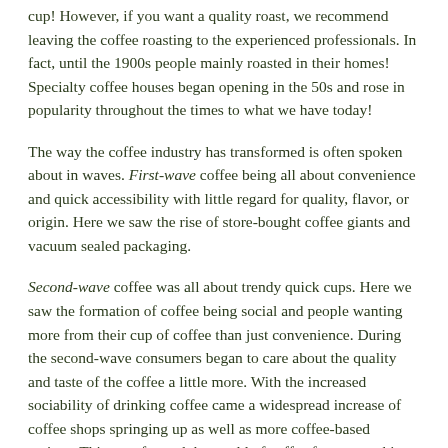cup! However, if you want a quality roast, we recommend leaving the coffee roasting to the experienced professionals. In fact, until the 1900s people mainly roasted in their homes! Specialty coffee houses began opening in the 50s and rose in popularity throughout the times to what we have today!
The way the coffee industry has transformed is often spoken about in waves. First-wave coffee being all about convenience and quick accessibility with little regard for quality, flavor, or origin. Here we saw the rise of store-bought coffee giants and vacuum sealed packaging.
Second-wave coffee was all about trendy quick cups. Here we saw the formation of coffee being social and people wanting more from their cup of coffee than just convenience. During the second-wave consumers began to care about the quality and taste of the coffee a little more. With the increased sociability of drinking coffee came a widespread increase of coffee shops springing up as well as more coffee-based recipes. This transformed the world of coffee from something only adults could enjoy, to something almost everyone could